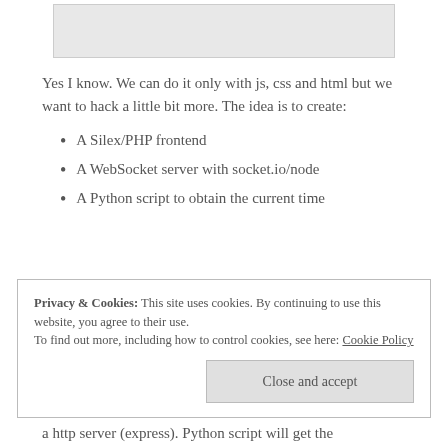[Figure (other): Gray image placeholder at top of page]
Yes I know. We can do it only with js, css and html but we want to hack a little bit more. The idea is to create:
A Silex/PHP frontend
A WebSocket server with socket.io/node
A Python script to obtain the current time
Privacy & Cookies: This site uses cookies. By continuing to use this website, you agree to their use.
To find out more, including how to control cookies, see here: Cookie Policy
a http server (express). Python script will get the